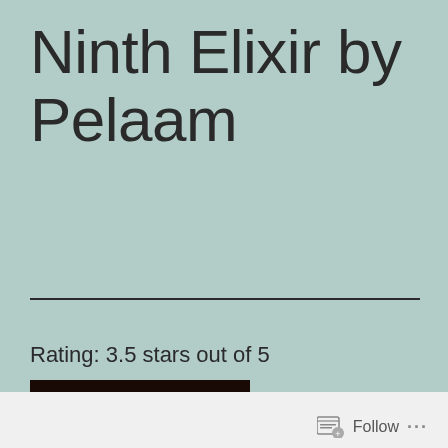Ninth Elixir by Pelaam
Rating: 3.5 stars out of 5
[Figure (illustration): Book cover for 'The Ninth Elixir' with dark/reddish background and teal stylized italic text]
Follow ...